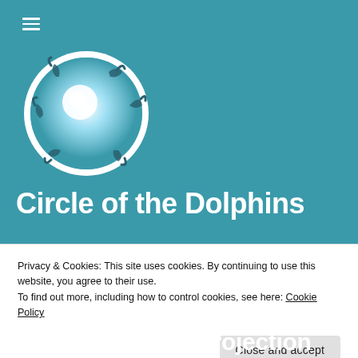[Figure (logo): Circle of the Dolphins logo: a circular globe shape with dolphins swimming around it in a ring, bright blue and teal coloring with a white glow at center, white circular border]
Circle of the Dolphins
Privacy & Cookies: This site uses cookies. By continuing to use this website, you agree to their use.
To find out more, including how to control cookies, see here: Cookie Policy
Close and accept
Consciousness Projection